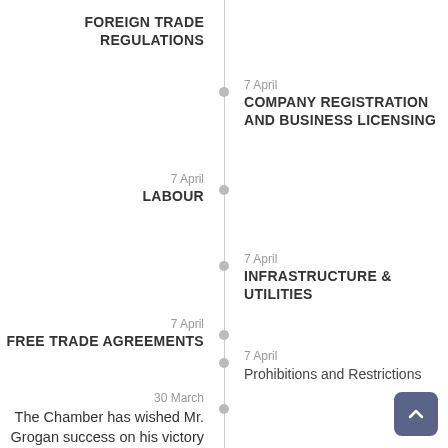[Figure (other): Vertical timeline with centered line, dots, dates, and entry titles for regulatory/business topics]
FOREIGN TRADE REGULATIONS
7 April
COMPANY REGISTRATION AND BUSINESS LICENSING
7 April
LABOUR
7 April
INFRASTRUCTURE & UTILITIES
7 April
FREE TRADE AGREEMENTS
7 April
Prohibitions and Restrictions
30 March
The Chamber has wished Mr. Grogan success on his victory